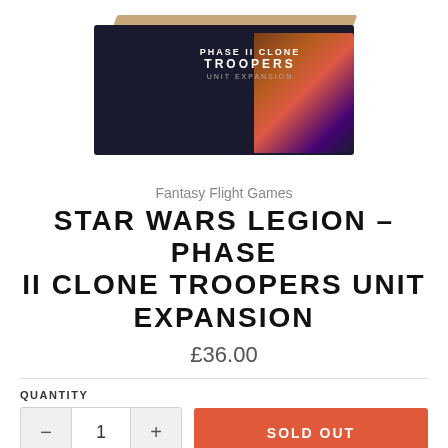[Figure (photo): Product box image for Star Wars Legion Phase II Clone Troopers Unit Expansion, dark box with colorful artwork]
Fantasy Flight Games
STAR WARS LEGION – PHASE II CLONE TROOPERS UNIT EXPANSION
£36.00
QUANTITY
SOLD OUT
Phase II clone trooper armour reflected one of the